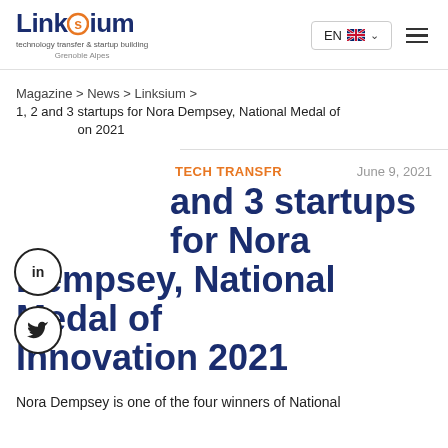Linksium — technology transfer & startup building Grenoble Alpes | EN | menu
Magazine > News > Linksium >
1, 2 and 3 startups for Nora Dempsey, National Medal of Innovation 2021
TECH TRANSFR    June 9, 2021
1, 2 and 3 startups for Nora Dempsey, National Medal of Innovation 2021
Nora Dempsey is one of the four winners of National